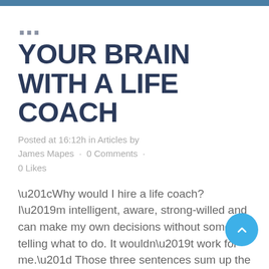YOUR BRAIN WITH A LIFE COACH
Posted at 16:12h in Articles by James Mapes · 0 Comments · 0 Likes
“Why would I hire a life coach? I’m intelligent, aware, strong-willed and can make my own decisions without someone telling what to do. It wouldn’t work for me.” Those three sentences sum up the reason many people refuse to seek out a life